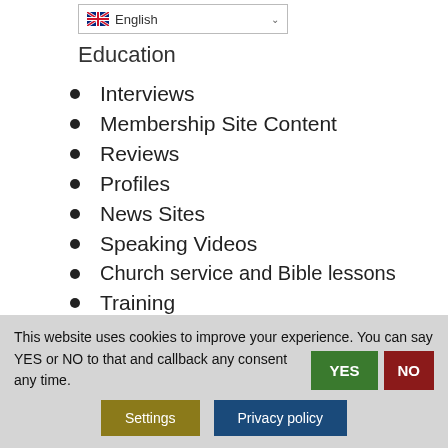Education
Interviews
Membership Site Content
Reviews
Profiles
News Sites
Speaking Videos
Church service and Bible lessons
Training
Psychology Channels
This website uses cookies to improve your experience. You can say YES or NO to that and callback any consent any time.